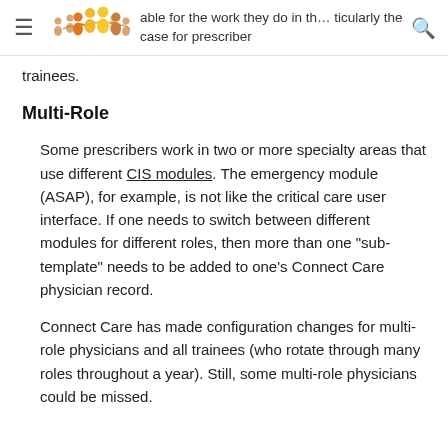is t... able for the work they do in th... ticularly the case for prescriber trainees.
Multi-Role
Some prescribers work in two or more specialty areas that use different CIS modules. The emergency module (ASAP), for example, is not like the critical care user interface. If one needs to switch between different modules for different roles, then more than one "sub-template" needs to be added to one's Connect Care physician record.
Connect Care has made configuration changes for multi-role physicians and all trainees (who rotate through many roles throughout a year). Still, some multi-role physicians could be missed.